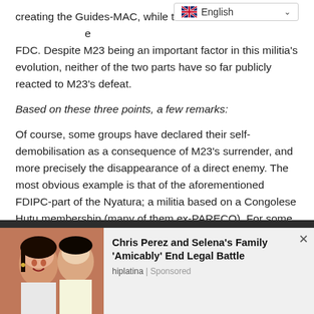creating the Guides-MAC, while t[he other part took refugee in the] FDC. Despite M23 being an important factor in this militia's evolution, neither of the two parts have so far publicly reacted to M23's defeat.
[Figure (screenshot): Browser language selector dropdown showing British flag and 'English' text with dropdown chevron]
Based on these three points, a few remarks:
Of course, some groups have declared their self-demobilisation as a consequence of M23's surrender, and more precisely the disappearance of a direct enemy. The most obvious example is that of the aforementioned FDIPC-part of the Nyatura; a militia based on a Congolese Hutu membership (many of them ex-PARECO). For some others this may hold true as well.
[Figure (photo): Advertisement photo showing two people (Chris Perez and Selena) with headline 'Chris Perez and Selena's Family Amicably End Legal Battle' from hiplatina, Sponsored]